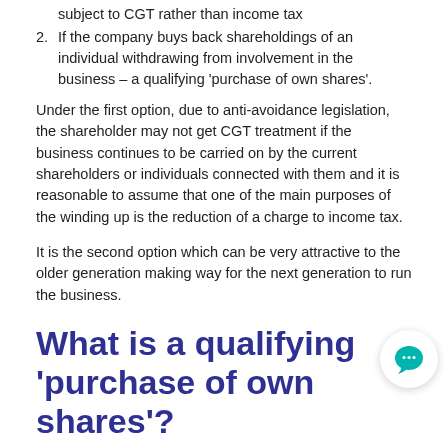subject to CGT rather than income tax
2. If the company buys back shareholdings of an individual withdrawing from involvement in the business – a qualifying 'purchase of own shares'.
Under the first option, due to anti-avoidance legislation, the shareholder may not get CGT treatment if the business continues to be carried on by the current shareholders or individuals connected with them and it is reasonable to assume that one of the main purposes of the winding up is the reduction of a charge to income tax.
It is the second option which can be very attractive to the older generation making way for the next generation to run the business.
What is a qualifying 'purchase of own shares'?
A qualifying 'purchase of own shares' provides a mechanism